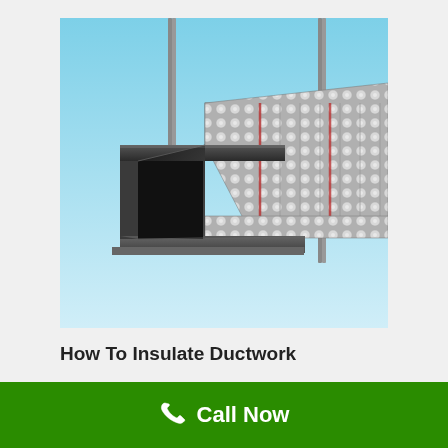[Figure (photo): A rectangular HVAC duct suspended from the ceiling by metal rods. The left/front end shows the dark hollow interior of the duct, while the right portion is wrapped in metallic bubble-wrap style insulation material with red tape seams. The background is light blue.]
How To Insulate Ductwork
Call Now